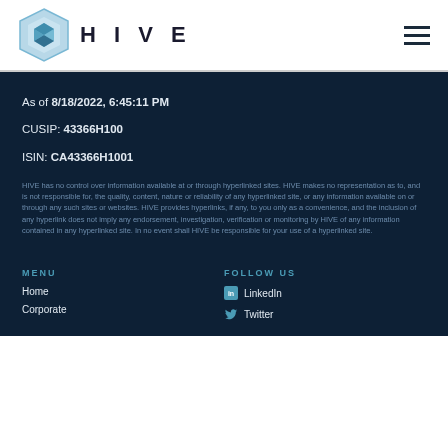HIVE
As of 8/18/2022, 6:45:11 PM
CUSIP: 43366H100
ISIN: CA43366H1001
HIVE has no control over information available at or through hyperlinked sites. HIVE makes no representation as to, and is not responsible for, the quality, content, nature or reliability of any hyperlinked site, or any information available on or through any such sites or websites. HIVE provides hyperlinks, if any, to you only as a convenience, and the inclusion of any hyperlink does not imply any endorsement, investigation, verification or monitoring by HIVE of any information contained in any hyperlinked site. In no event shall HIVE be responsible for your use of a hyperlinked site.
MENU
Home
Corporate
FOLLOW US
LinkedIn
Twitter